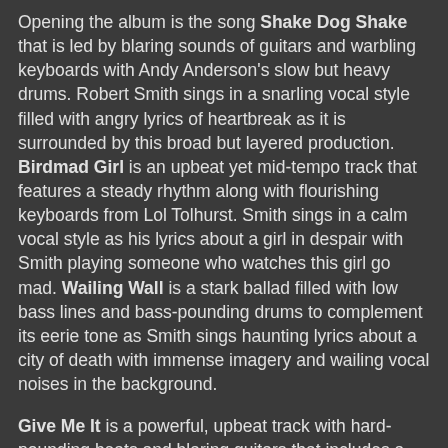Opening the album is the song Shake Dog Shake that is led by blaring sounds of guitars and warbling keyboards with Andy Anderson's slow but heavy drums. Robert Smith sings in a snarling vocal style filled with angry lyrics of heartbreak as it is surrounded by this broad but layered production. Birdmad Girl is an upbeat yet mid-tempo track that features a steady rhythm along with flourishing keyboards from Lol Tolhurst. Smith sings in a calm vocal style as his lyrics about a girl in despair with Smith playing someone who watches this girl go mad. Wailing Wall is a stark ballad filled with low bass lines and bass-pounding drums to complement its eerie tone as Smith sings haunting lyrics about a city of death with immense imagery and wailing vocal noises in the background.
Give Me It is a powerful, upbeat track with hard-pounding beats and blaring guitars that includes a wailing saxophone from Porl Thompson. Smith's vocals are filled with snarling wails as he sings chaotic lyrics filled with death in its most nihilistic description. Dressing Up is led by melodic-swirling keyboards in its mid-tempo rhythm that includes a steady beat on the flat…